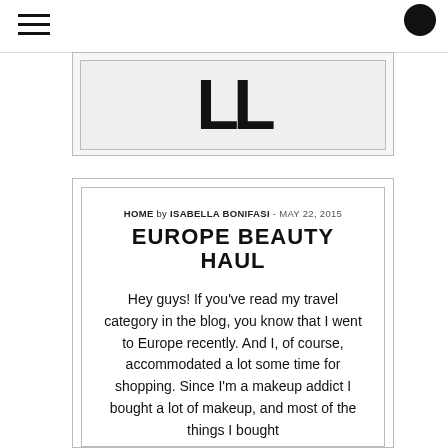HOME by ISABELLA BONIFASI - MAY 22, 2015
[Figure (other): Blog logo / banner with large bold letters partially visible at top]
EUROPE BEAUTY HAUL
Hey guys! If you've read my travel category in the blog, you know that I went to Europe recently. And I, of course, accommodated a lot some time for shopping. Since I'm a makeup addict I bought a lot of makeup, and most of the things I bought were new to me. I bought a